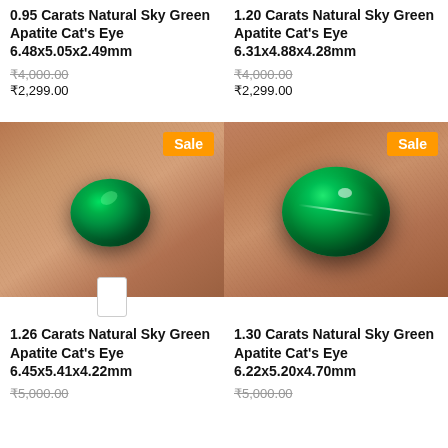0.95 Carats Natural Sky Green Apatite Cat's Eye 6.48x5.05x2.49mm
₹4,000.00
₹2,299.00
1.20 Carats Natural Sky Green Apatite Cat's Eye 6.31x4.88x4.28mm
₹4,000.00
₹2,299.00
[Figure (photo): Close-up photo of a small dark green oval cabochon gemstone (Apatite Cat's Eye) held between fingers, with orange Sale badge]
[Figure (photo): Close-up photo of a larger bright green oval cabochon gemstone (Apatite Cat's Eye) held between fingers showing cat's eye effect, with orange Sale badge]
1.26 Carats Natural Sky Green Apatite Cat's Eye 6.45x5.41x4.22mm
1.30 Carats Natural Sky Green Apatite Cat's Eye 6.22x5.20x4.70mm
₹5,000.00
₹5,000.00